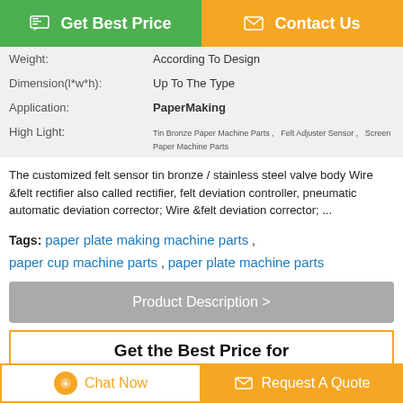Get Best Price | Contact Us
| Weight: | According To Design |
| Dimension(l*w*h): | Up To The Type |
| Application: | PaperMaking |
| High Light: | Tin Bronze Paper Machine Parts, Felt Adjuster Sensor, Screen Paper Machine Parts |
The customized felt sensor tin bronze / stainless steel valve body Wire &felt rectifier also called rectifier, felt deviation controller, pneumatic automatic deviation corrector; Wire &felt deviation corrector; ...
Tags: paper plate making machine parts , paper cup machine parts , paper plate machine parts
Product Description >
Get the Best Price for
Felt Adjuster Sensor Tin Bronze Paper Machine Parts
Chat Now | Request A Quote